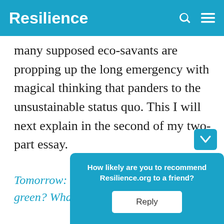Resilience
many supposed eco-savants are propping up the long emergency with magical thinking that panders to the unsustainable status quo. This I will next explain in the second of my two-part essay.
Tomorrow: Can unlimited growth be green? What’s the alternative?
How likely are you to recommend Resilience.org to a friend?
Reply